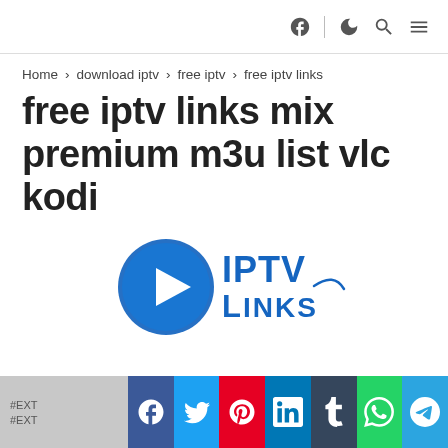Home > download iptv > free iptv > free iptv links
free iptv links mix premium m3u list vlc kodi
[Figure (logo): IPTV Links logo: blue play button circle with 'IPTV Links' text in blue]
#EXT... #EXT... [social share icons: Facebook, Twitter, Pinterest, LinkedIn, Tumblr, WhatsApp, Telegram]